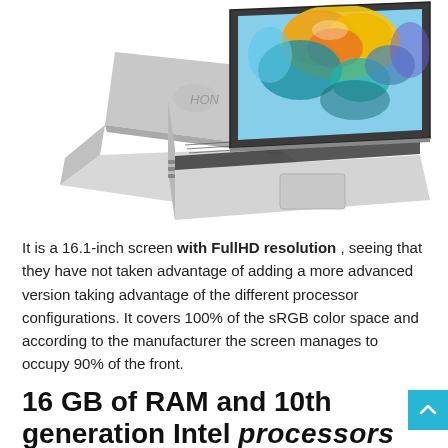[Figure (photo): Two silver laptops shown from different angles — one open showing a colorful abstract wallpaper (yellow, orange, blue), one showing the back. Both are slim, silver-colored with black keyboards.]
It is a 16.1-inch screen with FullHD resolution , seeing that they have not taken advantage of adding a more advanced version taking advantage of the different processor configurations. It covers 100% of the sRGB color space and according to the manufacturer the screen manages to occupy 90% of the front.
16 GB of RAM and 10th generation Intel processors